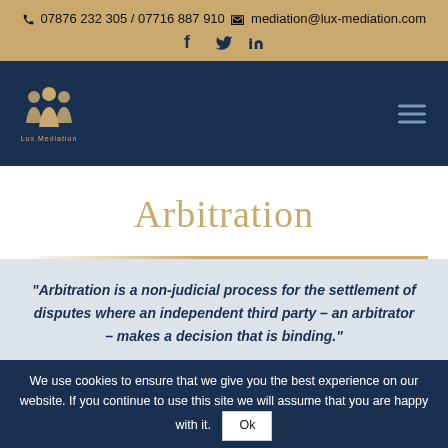07876 232 305 / 07716 887 910  mediation@lux-mediation.com  f  twitter  in
[Figure (logo): Lux Mediation logo with three stylized figures in gold on dark blue background, text 'Lux Mediation' below]
Arbitration
“Arbitration is a non-judicial process for the settlement of disputes where an independent third party – an arbitrator – makes a decision that is binding.”
We use cookies to ensure that we give you the best experience on our website. If you continue to use this site we will assume that you are happy with it.